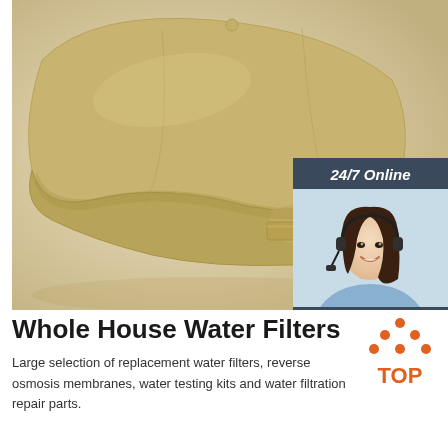[Figure (photo): Close-up photo of the back of a tan/khaki baseball cap showing the strap and buckle, on a light background. Overlaid with a chat widget in the upper right showing '24/7 Online', a smiling female customer service agent with headset, 'Click here for free chat!' text, and an orange QUOTATION button.]
Whole House Water Filters
[Figure (logo): TOP logo badge: orange dots arranged in a triangle above the word TOP in orange bold text]
Large selection of replacement water filters, reverse osmosis membranes, water testing kits and water filtration repair parts.